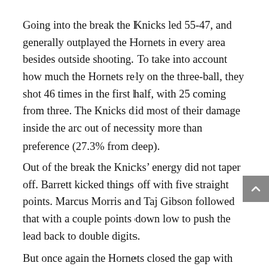Going into the break the Knicks led 55-47, and generally outplayed the Hornets in every area besides outside shooting. To take into account how much the Hornets rely on the three-ball, they shot 46 times in the first half, with 25 coming from three. The Knicks did most of their damage inside the arc out of necessity more than preference (27.3% from deep).
Out of the break the Knicks’ energy did not taper off. Barrett kicked things off with five straight points. Marcus Morris and Taj Gibson followed that with a couple points down low to push the lead back to double digits.
But once again the Hornets closed the gap with their outside shooting, virtually the only above-average facet